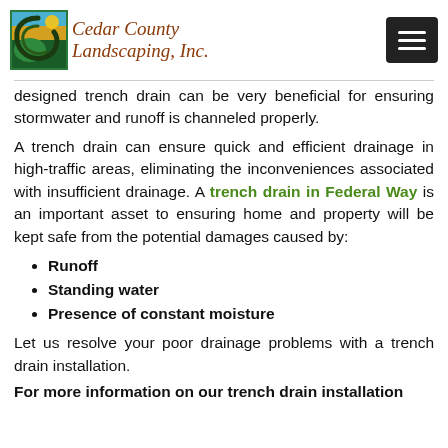[Figure (logo): Cedar County Landscaping, Inc. logo with stylized circular leaf/landscape graphic and italic serif text]
designed trench drain can be very beneficial for ensuring stormwater and runoff is channeled properly.
A trench drain can ensure quick and efficient drainage in high-traffic areas, eliminating the inconveniences associated with insufficient drainage. A trench drain in Federal Way is an important asset to ensuring home and property will be kept safe from the potential damages caused by:
Runoff
Standing water
Presence of constant moisture
Let us resolve your poor drainage problems with a trench drain installation.
For more information on our trench drain installation